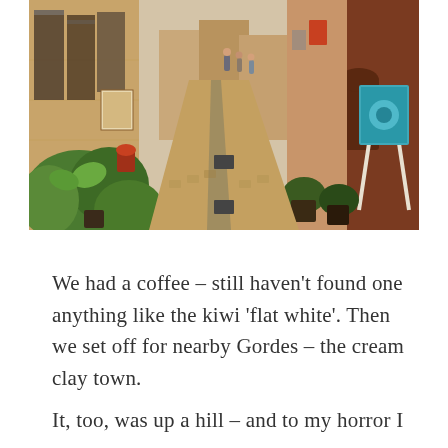[Figure (photo): A narrow cobblestone street in a European village (Provence, France), lined with stone buildings, potted plants and greenery on the left, artwork and an easel displayed on the right, with pedestrians visible in the background.]
We had a coffee – still haven't found one anything like the kiwi 'flat white'. Then we set off for nearby Gordes – the cream clay town.
It, too, was up a hill – and to my horror I